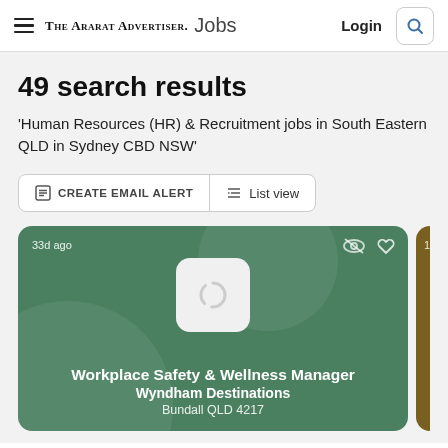The Ararat Advertiser. Jobs | Login
49 search results
'Human Resources (HR) & Recruitment jobs in South Eastern QLD in Sydney CBD NSW'
CREATE EMAIL ALERT   List view
[Figure (screenshot): Job listing card with green background showing: 33d ago, Workplace Safety & Wellness Manager, Wyndham Destinations, Bundall QLD 4217. Loading image placeholder visible. Icons for hide and save shown top right.]